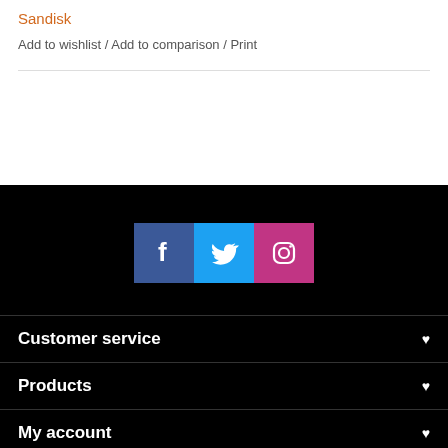Sandisk
Add to wishlist / Add to comparison / Print
[Figure (screenshot): Social media icons: Facebook (blue), Twitter (light blue), Instagram (pink/red), displayed as colored square buttons in a dark footer area]
Customer service
Products
My account
iLove Computers